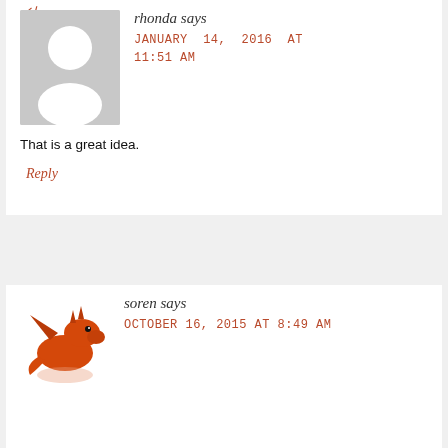rhonda says
JANUARY 14, 2016 AT 11:51 AM
[Figure (illustration): Generic grey avatar placeholder with white silhouette of a person (head circle and shoulder ellipse)]
That is a great idea.
Reply
[Figure (illustration): Orange/red dragon avatar illustration with wings, spines, snout, and a faded reflection below]
soren says
OCTOBER 16, 2015 AT 8:49 AM